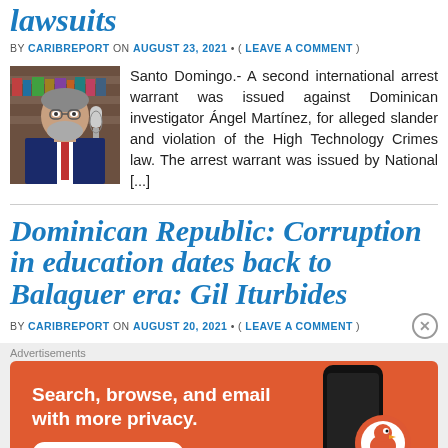lawsuits
BY CARIBREPORT ON AUGUST 23, 2021 • ( LEAVE A COMMENT )
[Figure (photo): Man in suit with microphone]
Santo Domingo.- A second international arrest warrant was issued against Dominican investigator Ángel Martínez, for alleged slander and violation of the High Technology Crimes law. The arrest warrant was issued by National [...]
Dominican Republic: Corruption in education dates back to Balaguer era: Gil Iturbides
BY CARIBREPORT ON AUGUST 20, 2021 • ( LEAVE A COMMENT )
[Figure (infographic): DuckDuckGo advertisement: Search, browse, and email with more privacy. All in One Free App.]